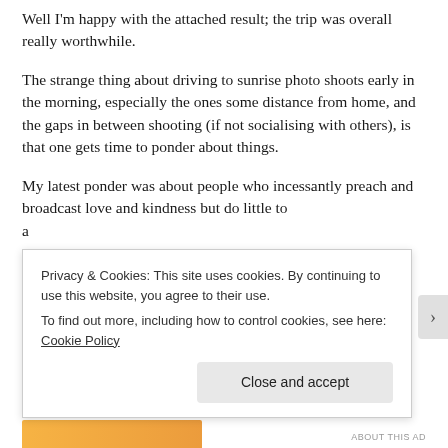Well I'm happy with the attached result; the trip was overall really worthwhile.
The strange thing about driving to sunrise photo shoots early in the morning, especially the ones some distance from home, and the gaps in between shooting (if not socialising with others), is that one gets time to ponder about things.
My latest ponder was about people who incessantly preach and broadcast love and kindness but do little to actually...
Privacy & Cookies: This site uses cookies. By continuing to use this website, you agree to their use.
To find out more, including how to control cookies, see here: Cookie Policy